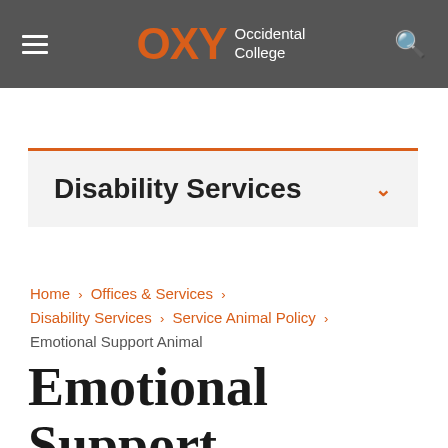OXY Occidental College
Disability Services
Home > Offices & Services > Disability Services > Service Animal Policy > Emotional Support Animal
Emotional Support Animal